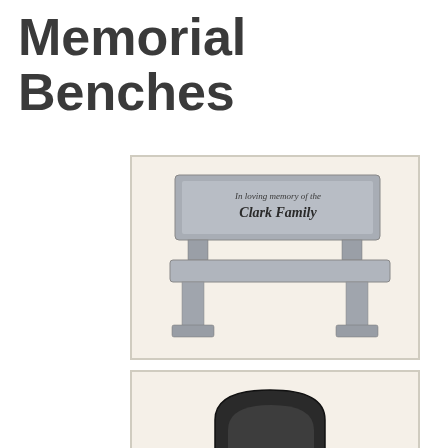Memorial Benches
[Figure (illustration): A gray granite memorial bench with 'In loving memory of the Clark Family' inscribed on the backrest, shown in a beige-framed illustration.]
[Figure (illustration): A dark black granite memorial bench with an arched back panel and 'GAITHER' inscription on the seat support, shown partially in a beige-framed illustration.]